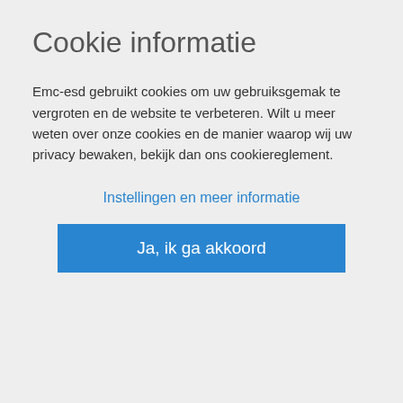Cookie informatie
Emc-esd gebruikt cookies om uw gebruiksgemak te vergroten en de website te verbeteren. Wilt u meer weten over onze cookies en de manier waarop wij uw privacy bewaken, bekijk dan ons cookiereglement.
Instellingen en meer informatie
Ja, ik ga akkoord
solution
The customer contacted CN Rood with their requirements and CN Rood immediately saw the possibilities to realize such a solution.